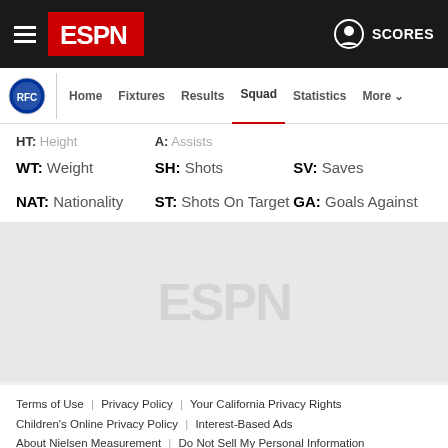ESPN navigation bar with hamburger menu, ESPN logo, and SCORES button
Home | Fixtures | Results | Squad | Statistics | More
WT: Weight   SH: Shots   SV: Saves
NAT: Nationality   ST: Shots On Target   GA: Goals Against
[Figure (logo): ESPN watermark logo in grey area]
Terms of Use | Privacy Policy | Your California Privacy Rights | Children's Online Privacy Policy | Interest-Based Ads | About Nielsen Measurement | Do Not Sell My Personal Information | Contact Us | Disney Ad Sales Site | Work for ESPN
Copyright: © ESPN Enterprises, Inc. All rights reserved.